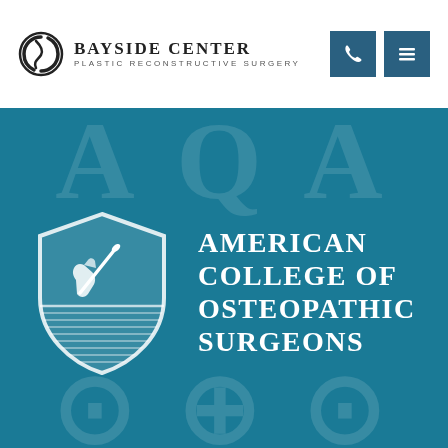[Figure (logo): Bayside Center Plastic Reconstructive Surgery logo with circular swirl icon and stylized text]
[Figure (logo): Phone icon button and hamburger menu icon button, teal/dark blue square buttons in page header]
[Figure (logo): American College of Osteopathic Surgeons logo — white shield emblem with surgical hand holding instrument, on teal background, with text AMERICAN COLLEGE OF OSTEOPATHIC SURGEONS]